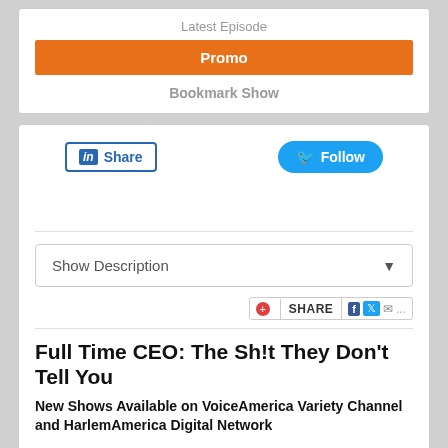Latest Episode
Promo
Bookmark Show
[Figure (screenshot): LinkedIn Share button and Twitter Follow button]
Show Description
[Figure (screenshot): Share widget with Facebook, Twitter, and email icons]
Full Time CEO: The Sh!t They Don't Tell You
New Shows Available on VoiceAmerica Variety Channel and HarlemAmerica Digital Network
You've seen the mansions. You've seen the cars. You've seen the private jets. But you've been sold a lie.